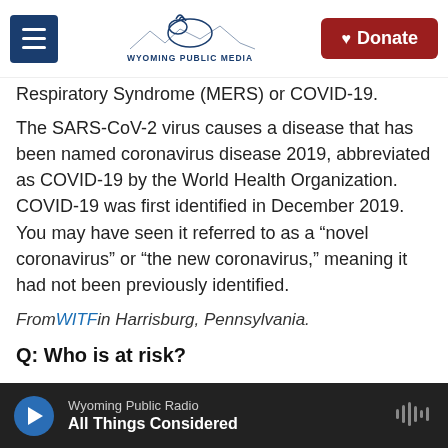Wyoming Public Media — Donate
Respiratory Syndrome (MERS) or COVID-19.
The SARS-CoV-2 virus causes a disease that has been named coronavirus disease 2019, abbreviated as COVID-19 by the World Health Organization. COVID-19 was first identified in December 2019. You may have seen it referred to as a “novel coronavirus” or “the new coronavirus,” meaning it had not been previously identified.
From WITF in Harrisburg, Pennsylvania.
Q: Who is at risk?
Wyoming Public Radio — All Things Considered